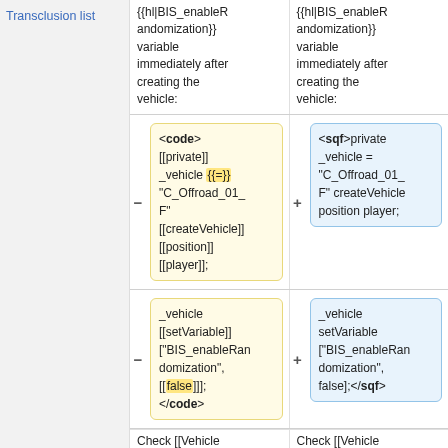Transclusion list
| (left column) | (right column) |
| --- | --- |
| {{hl|BIS_enableRandomization}} variable immediately after creating the vehicle: | {{hl|BIS_enableRandomization}} variable immediately after creating the vehicle: |
| <code> [[private]] _vehicle {{=}} "C_Offroad_01_F" [[createVehicle]] [[position]] [[player]]; </code> | <sqf>private _vehicle = "C_Offroad_01_F" createVehicle position player;</sqf> |
| _vehicle [[setVariable]] ["BIS_enableRandomization", [[false]]]; </code> | _vehicle setVariable ["BIS_enableRandomization", false];</sqf> |
| Check [[Vehicle | Check [[Vehicle |